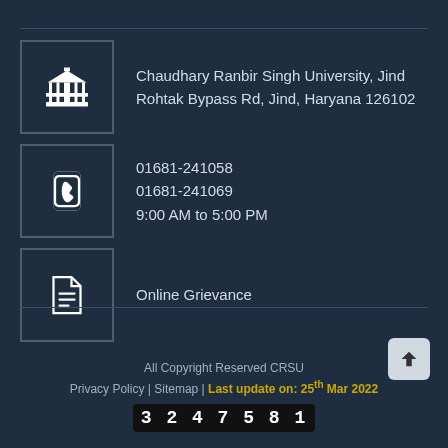Chaudhary Ranbir Singh University, Jind
Rohtak Bypass Rd, Jind, Haryana 126102
01681-241058
01681-241069
9:00 AM to 5:00 PM
Online Grievance
All Copyright Reserved CRSU
Privacy Policy | Sitemap | Last update on: 25th Mar 2022
3 2 4 7 5 8 1